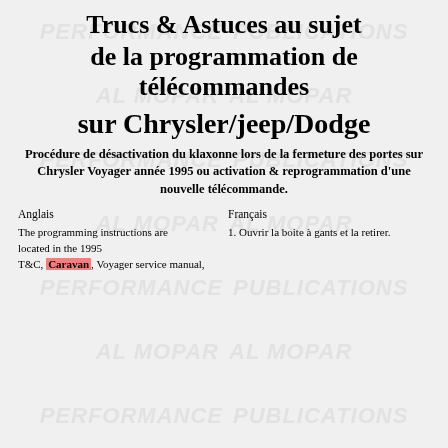Trucs & Astuces au sujet de la programmation de télécommandes sur Chrysler/jeep/Dodge
Procédure de désactivation du klaxonne lors de la fermeture des portes sur Chrysler Voyager année 1995 ou activation & reprogrammation d'une nouvelle télécommande.
Anglais
The programming instructions are located in the 1995 T&C, Caravan, Voyager service manual,
Français
1. Ouvrir la boite à gants et la retirer.